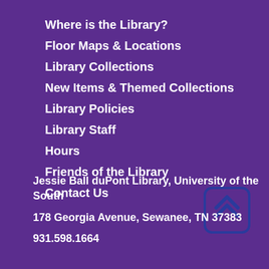Where is the Library?
Floor Maps & Locations
Library Collections
New Items & Themed Collections
Library Policies
Library Staff
Hours
Friends of the Library
Contact Us
[Figure (illustration): Scroll-to-top button icon: rounded rectangle with dark blue border containing two upward chevron arrows in blue, on purple background]
Jessie Ball duPont Library, University of the South
178 Georgia Avenue, Sewanee, TN 37383
931.598.1664